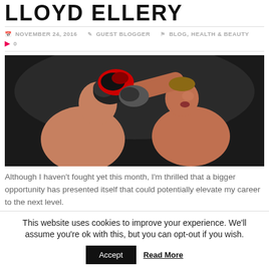LLOYD ELLERY
NOVEMBER 24, 2016  GUEST BLOGGER  BLOG, HEALTH & BEAUTY  0
[Figure (photo): Two boxers in a match; one on the right is throwing a punch at the other who is defending on the left.]
Although I haven't fought yet this month, I'm thrilled that a bigger opportunity has presented itself that could potentially elevate my career to the next level.
This website uses cookies to improve your experience. We'll assume you're ok with this, but you can opt-out if you wish.